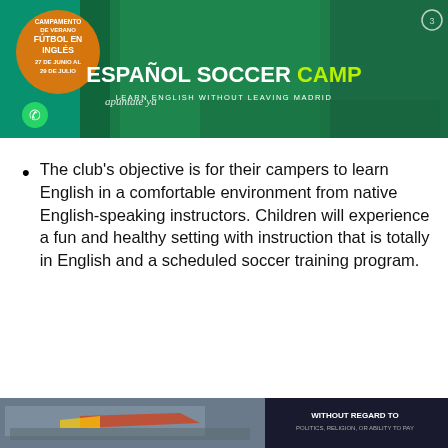[Figure (photo): Banner for Español Soccer Camp showing soccer players on a green field with overlay text: CAMPAMENTO DE VERANO, FÚTBOL EN INGLÉS, 27 DE JUNIO AL 29 DE JULIO, apúntate ya, ESPAÑOL SOCCER CAMP, LEARN ENGLISH WITHOUT LEAVING MADRID. WhatsApp icon in lower left corner.]
The club's objective is for their campers to learn English in a comfortable environment from native English-speaking instructors. Children will experience a fun and healthy setting with instruction that is totally in English and a scheduled soccer training program.
[Figure (photo): Advertisement banner showing a cargo airplane being loaded with packages, with text: WITHOUT REGARD TO POLITICS, RELIGION, OR ABILITY TO PAY]